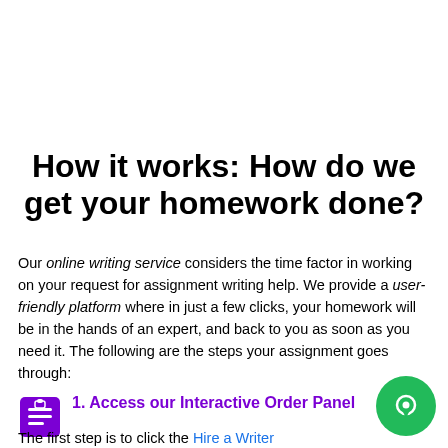How it works: How do we get your homework done?
Our online writing service considers the time factor in working on your request for assignment writing help. We provide a user-friendly platform where in just a few clicks, your homework will be in the hands of an expert, and back to you as soon as you need it. The following are the steps your assignment goes through:
1. Access our Interactive Order Panel
The first step is to click the Hire a Writer